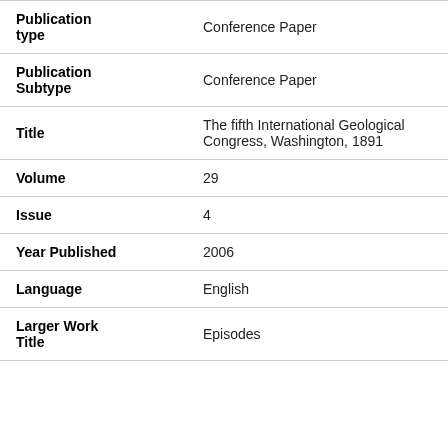| Field | Value |
| --- | --- |
| Publication type | Conference Paper |
| Publication Subtype | Conference Paper |
| Title | The fifth International Geological Congress, Washington, 1891 |
| Volume | 29 |
| Issue | 4 |
| Year Published | 2006 |
| Language | English |
| Larger Work Title | Episodes |